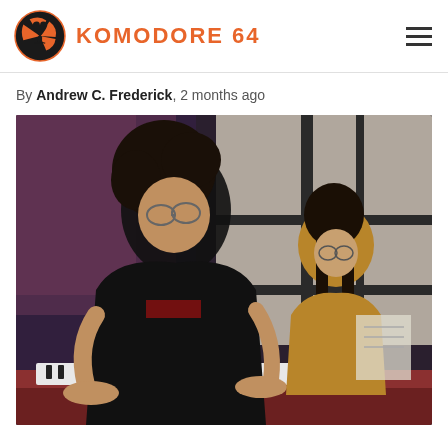KOMODORE 64
By Andrew C. Frederick, 2 months ago
[Figure (photo): Two people at a piano/keyboard in a warmly lit room with large windows and brick walls. The foreground person has curly hair and glasses, wearing a black jersey, playing the keyboard. A second person sits behind them, wearing a mustard/orange jacket, with long hair.]